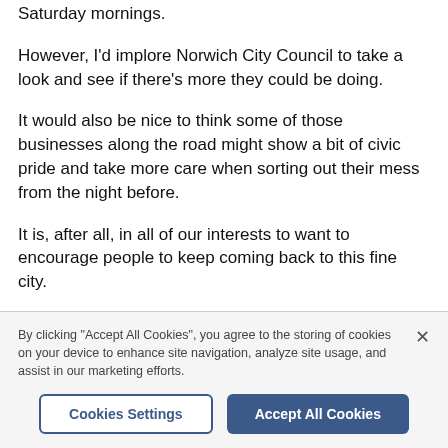Saturday mornings.
However, I'd implore Norwich City Council to take a look and see if there's more they could be doing.
It would also be nice to think some of those businesses along the road might show a bit of civic pride and take more care when sorting out their mess from the night before.
It is, after all, in all of our interests to want to encourage people to keep coming back to this fine city.
• If you have any news, views or feedback then please
By clicking "Accept All Cookies", you agree to the storing of cookies on your device to enhance site navigation, analyze site usage, and assist in our marketing efforts.